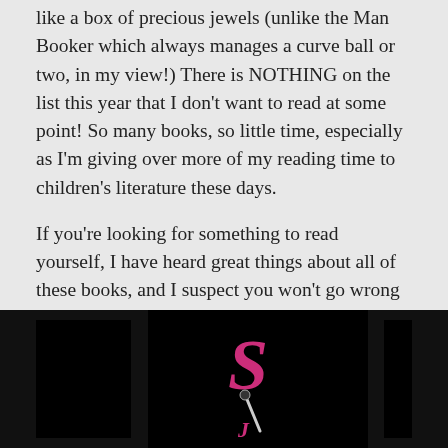like a box of precious jewels (unlike the Man Booker which always manages a curve ball or two, in my view!) There is NOTHING on the list this year that I don't want to read at some point! So many books, so little time, especially as I'm giving over more of my reading time to children's literature these days.
If you're looking for something to read yourself, I have heard great things about all of these books, and I suspect you won't go wrong if you pick any one of them.
[Figure (photo): Dark/black background image showing a stylized pink/magenta letter 'S' in italic serif font with what appears to be a pen or quill below it, suggesting a book blog or literary website logo. Three dark panels arranged horizontally on a black background.]